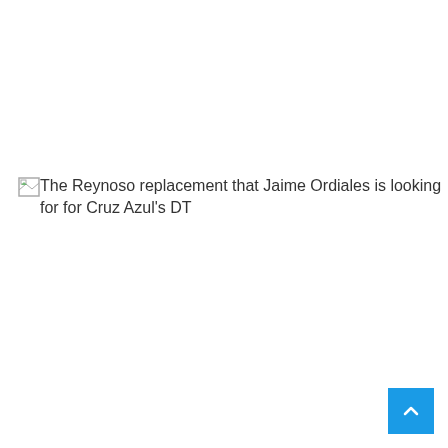[Figure (other): Broken image placeholder with alt text: The Reynoso replacement that Jaime Ordiales is looking for for Cruz Azul's DT]